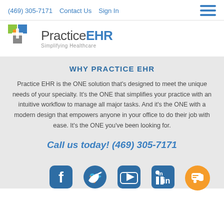(469) 305-7171   Contact Us   Sign In
[Figure (logo): PracticeEHR logo with colored cross icon and tagline 'Simplifying Healthcare']
WHY PRACTICE EHR
Practice EHR is the ONE solution that’s designed to meet the unique needs of your specialty. It’s the ONE that simplifies your practice with an intuitive workflow to manage all major tasks. And it’s the ONE with a modern design that empowers anyone in your office to do their job with ease. It’s the ONE you’ve been looking for.
Call us today! (469) 305-7171
[Figure (illustration): Social media icons row: Facebook, Twitter, YouTube, LinkedIn]